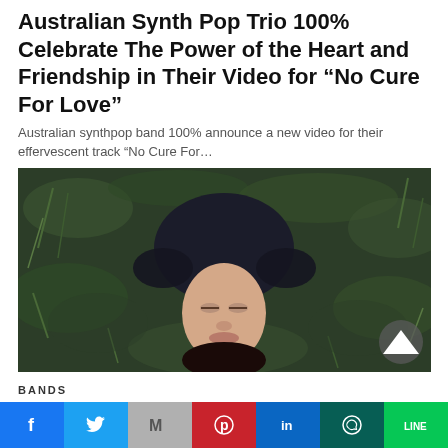Australian Synth Pop Trio 100% Celebrate The Power of the Heart and Friendship in Their Video for “No Cure For Love”
Australian synthpop band 100% announce a new video for their effervescent track "No Cure For...
2 days ago
[Figure (photo): A person lying upside-down on grass, viewed from above, with dark clothing and face visible against green grass background.]
BANDS
Social share bar: Facebook, Twitter, Mail, Pinterest, LinkedIn, WhatsApp, LINE